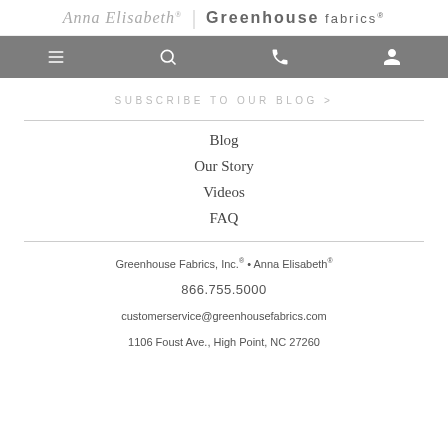Anna Elisabeth® | Greenhouse Fabrics®
[Figure (screenshot): Navigation bar with menu, search, phone, and user icons on gray background]
SUBSCRIBE TO OUR BLOG >
Blog
Our Story
Videos
FAQ
Greenhouse Fabrics, Inc.® • Anna Elisabeth®
866.755.5000
customerservice@greenhousefabrics.com
1106 Foust Ave., High Point, NC 27260